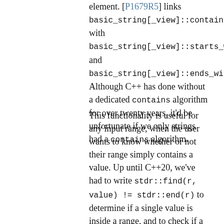element. [P1679R5] links basic_string[_view]::contains with basic_string[_view]::starts_with and basic_string[_view]::ends_with. Although C++ has done without a dedicated contains algorithm for over twenty years, it'd be unfortunate if we only strings had a contains algorithm.
This functionality is useful for any input range, when the user wants to know whether or not their range simply contains a value. Up until C++20, we've had to write stdr::find(r, value) != stdr::end(r) to determine if a single value is inside a range, and to check if a range contains a subrange of interest, we use not stdr::search(haystack, needle).empty(). While this is accurate, it isn't necessarily convenient, and it hardly expresses intent (especially in the latter case). Being able to say